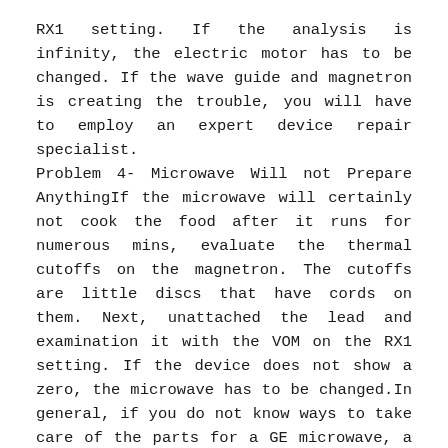RX1 setting. If the analysis is infinity, the electric motor has to be changed. If the wave guide and magnetron is creating the trouble, you will have to employ an expert device repair specialist. Problem 4- Microwave Will not Prepare AnythingIf the microwave will certainly not cook the food after it runs for numerous mins, evaluate the thermal cutoffs on the magnetron. The cutoffs are little discs that have cords on them. Next, unattached the lead and examination it with the VOM on the RX1 setting. If the device does not show a zero, the microwave has to be changed.In general, if you do not know ways to take care of the parts for a GE microwave, a professional should take on all upkeep tasks. The majority of specialists are very educated, so they could repair all GE cooking area home appliances properly as well as efficiently. To work with a professional in your location, review the fixings